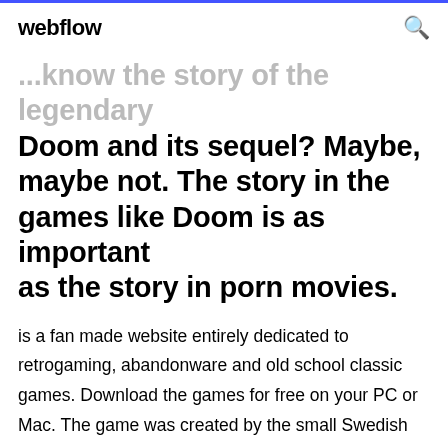webflow
...know the story of the legendary Doom and its sequel? Maybe, maybe not. The story in the games like Doom is as important as the story in porn movies.
is a fan made website entirely dedicated to retrogaming, abandonware and old school classic games. Download the games for free on your PC or Mac. The game was created by the small Swedish studio Dynafield, and it was released for  Got an old PC game?, don't throw it out, work it out! [ Next random game ]. OldGames.sk contains many of the classic good old games for free download for platforms such